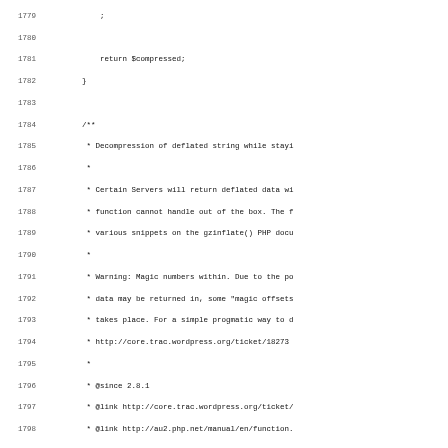Source code listing lines 1779-1811 showing PHP code for compatible_gzinflate function with comments about decompression of deflated strings.